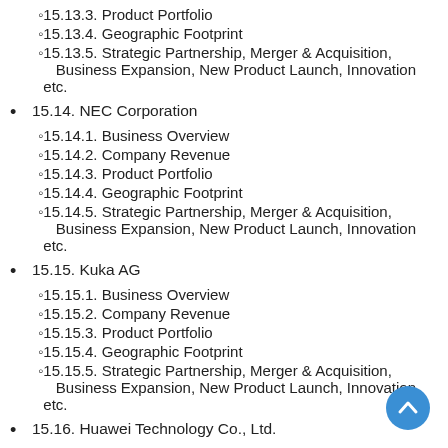15.13.3. Product Portfolio
15.13.4. Geographic Footprint
15.13.5. Strategic Partnership, Merger & Acquisition, Business Expansion, New Product Launch, Innovation etc.
15.14. NEC Corporation
15.14.1. Business Overview
15.14.2. Company Revenue
15.14.3. Product Portfolio
15.14.4. Geographic Footprint
15.14.5. Strategic Partnership, Merger & Acquisition, Business Expansion, New Product Launch, Innovation etc.
15.15. Kuka AG
15.15.1. Business Overview
15.15.2. Company Revenue
15.15.3. Product Portfolio
15.15.4. Geographic Footprint
15.15.5. Strategic Partnership, Merger & Acquisition, Business Expansion, New Product Launch, Innovation etc.
15.16. Huawei Technology Co., Ltd.